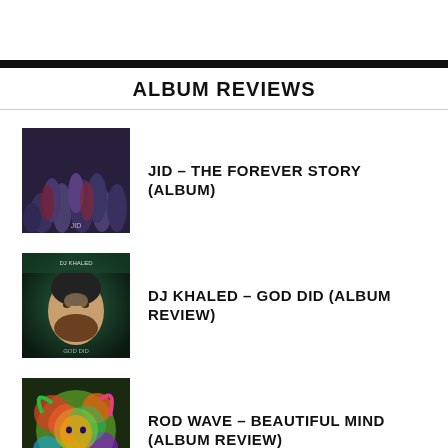ALBUM REVIEWS
JID – THE FOREVER STORY (ALBUM)
DJ KHALED – GOD DID (ALBUM REVIEW)
ROD WAVE – BEAUTIFUL MIND (ALBUM REVIEW)